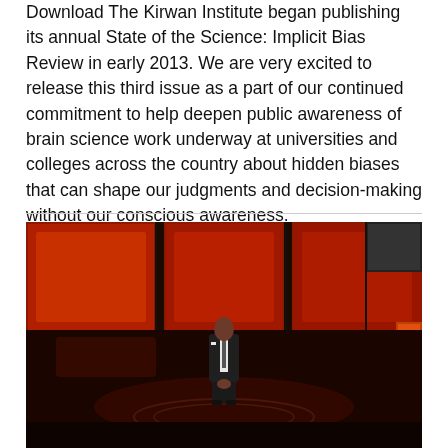Download The Kirwan Institute began publishing its annual State of the Science: Implicit Bias Review in early 2013. We are very excited to release this third issue as a part of our continued commitment to help deepen public awareness of brain science work underway at universities and colleges across the country about hidden biases that can shape our judgments and decision-making without our conscious awareness.
[Figure (photo): A person in a dark suit standing on a stage with a red panel background, reminiscent of a TED Talk setting. The stage has a circular spotlight area on the floor.]